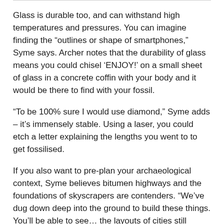Glass is durable too, and can withstand high temperatures and pressures. You can imagine finding the “outlines or shape of smartphones,” Syme says. Archer notes that the durability of glass means you could chisel ‘ENJOY!’ on a small sheet of glass in a concrete coffin with your body and it would be there to find with your fossil.
“To be 100% sure I would use diamond,” Syme adds – it’s immensely stable. Using a laser, you could etch a letter explaining the lengths you went to to get fossilised.
If you also want to pre-plan your archaeological context, Syme believes bitumen highways and the foundations of skyscrapers are contenders. “We’ve dug down deep into the ground to build these things. You’ll be able to see… the layouts of cities still there,” she says.
Remember, the words you write will fade and your deeds will be forgotten. But a fossil? That could prove bolder...